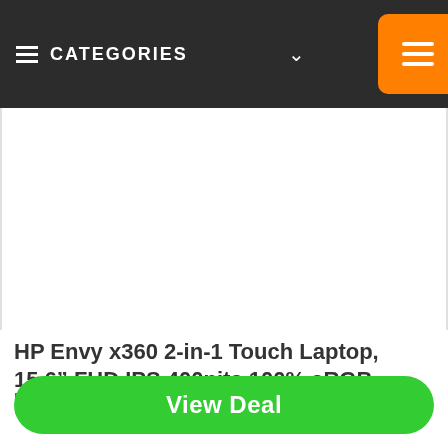≡ CATEGORIES ∨
[Figure (other): White blank product image area for HP Envy x360 laptop]
HP Envy x360 2-in-1 Touch Laptop, 15.6" FHD IPS 400nits 100% sRGB Display, 8-Cores Ryzen 7 5700U(>
FROZEN 2 LEARNING TABLET (VTUK)
View Deal